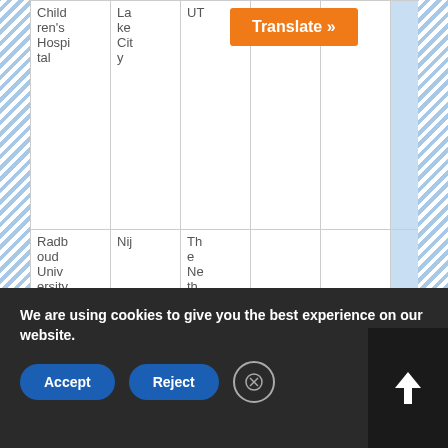| Child
ren's
Hospi
tal | La
ke
Cit
y | UT | Yes |  |  |
| Radb
oud
Univ
ersity
Nijm
egen
Medi | Nij | Th
e
Ne
th |  |  |  |
[Figure (screenshot): Orange Translate button overlay on table]
[Figure (screenshot): Black box overlay showing number 0]
We are using cookies to give you the best experience on our website.
[Figure (screenshot): Cookie consent banner with Accept, Reject and close buttons. Up arrow button at bottom right.]